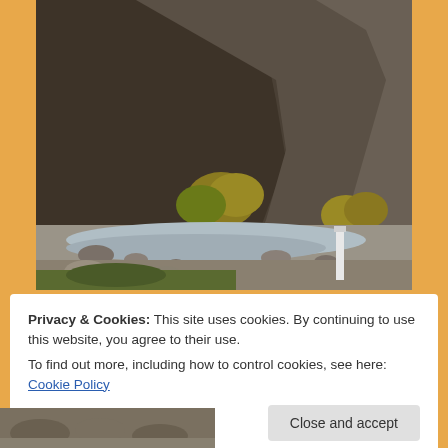[Figure (photo): A rocky canyon landscape with steep dark granite cliffs rising on both sides. A shallow rocky river runs through the canyon floor. Autumn-colored trees (yellow and green) are visible at the base of the cliffs. Blue sky is visible at the top. A white road marker post is visible on the right side near the river bank.]
Privacy & Cookies: This site uses cookies. By continuing to use this website, you agree to their use.
To find out more, including how to control cookies, see here: Cookie Policy
[Figure (photo): Partial view of a rocky river or stream bed, bottom of page.]